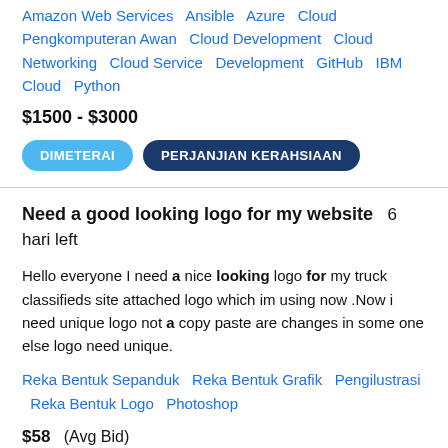Amazon Web Services  Ansible  Azure  Cloud Pengkomputeran Awan  Cloud Development  Cloud Networking  Cloud Service  Development  GitHub  IBM Cloud  Python
$1500 - $3000
[Figure (other): Two buttons: DIMETERAI (light blue, pill-shaped) and PERJANJIAN KERAHSIAAN (dark navy, pill-shaped)]
Need a good looking logo for my website  6 hari left
Hello everyone I need a nice looking logo for my truck classifieds site attached logo which im using now .Now i need unique logo not a copy paste are changes in some one else logo need unique.
Reka Bentuk Sepanduk  Reka Bentuk Grafik  Pengilustrasi  Reka Bentuk Logo  Photoshop
$58  (Avg Bid)